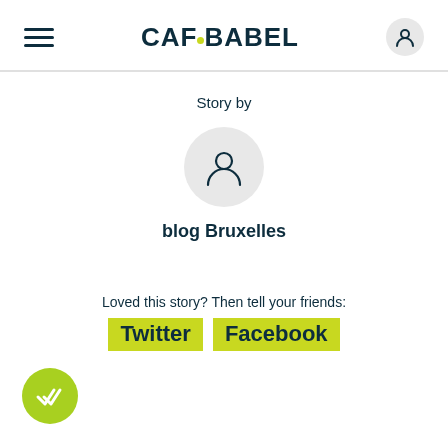CAFeBabel (with hamburger menu and user icon)
Story by
[Figure (illustration): Circular grey avatar placeholder icon with a person silhouette]
blog Bruxelles
Loved this story? Then tell your friends:
Twitter  Facebook
[Figure (illustration): Green circular badge with double checkmark icon in bottom-left corner]